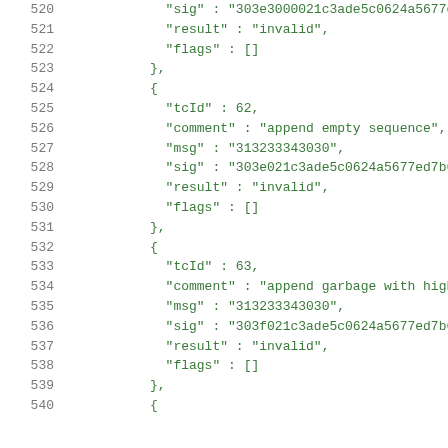520  "sig" : "303e3000021c3ade5c0624a5677e
521  "result" : "invalid",
522  "flags" : []
523  },
524  {
525  "tcId" : 62,
526  "comment" : "append empty sequence",
527  "msg" : "313233343030",
528  "sig" : "303e021c3ade5c0624a5677ed7b6
529  "result" : "invalid",
530  "flags" : []
531  },
532  {
533  "tcId" : 63,
534  "comment" : "append garbage with high
535  "msg" : "313233343030",
536  "sig" : "303f021c3ade5c0624a5677ed7b6
537  "result" : "invalid",
538  "flags" : []
539  },
540  {